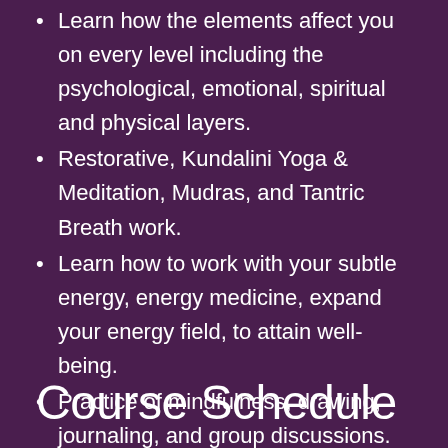Learn how the elements affect you on every level including the psychological, emotional, spiritual and physical layers.
Restorative, Kundalini Yoga & Meditation, Mudras, and Tantric Breath work.
Learn how to work with your subtle energy, energy medicine, expand your energy field, to attain well-being.
Practice of mindfulness, drawing, journaling, and group discussions.
Elemental Nutritional Tips.
Elemental Energy Practice.
Course Schedule